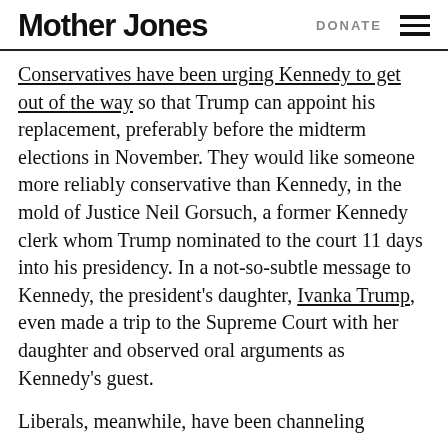Mother Jones | DONATE
Conservatives have been urging Kennedy to get out of the way so that Trump can appoint his replacement, preferably before the midterm elections in November. They would like someone more reliably conservative than Kennedy, in the mold of Justice Neil Gorsuch, a former Kennedy clerk whom Trump nominated to the court 11 days into his presidency. In a not-so-subtle message to Kennedy, the president’s daughter, Ivanka Trump, even made a trip to the Supreme Court with her daughter and observed oral arguments as Kennedy’s guest.
Liberals, meanwhile, have been channeling